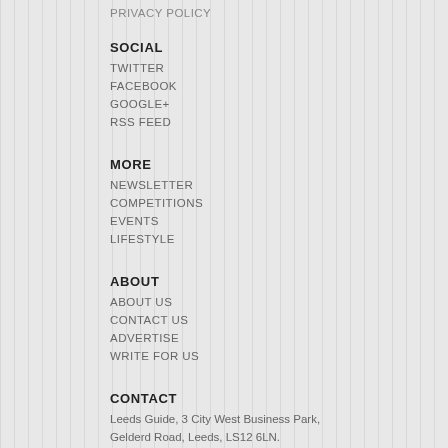PRIVACY POLICY
SOCIAL
TWITTER
FACEBOOK
GOOGLE+
RSS FEED
MORE
NEWSLETTER
COMPETITIONS
EVENTS
LIFESTYLE
ABOUT
ABOUT US
CONTACT US
ADVERTISE
WRITE FOR US
CONTACT
Leeds Guide, 3 City West Business Park, Gelderd Road, Leeds, LS12 6LN.
Tel: 0844 879 7847